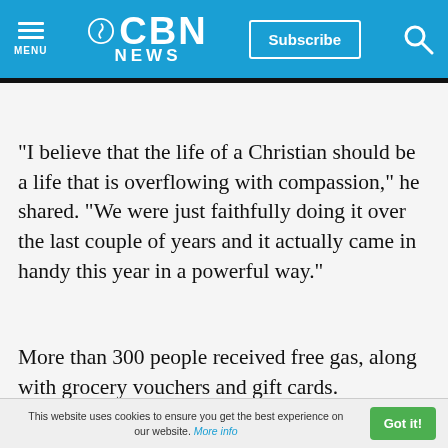CBN NEWS
"I believe that the life of a Christian should be a life that is overflowing with compassion," he shared. "We were just faithfully doing it over the last couple of years and it actually came in handy this year in a powerful way."
More than 300 people received free gas, along with grocery vouchers and gift cards.
"People were actually running out of gas, coming
This website uses cookies to ensure you get the best experience on our website. More info